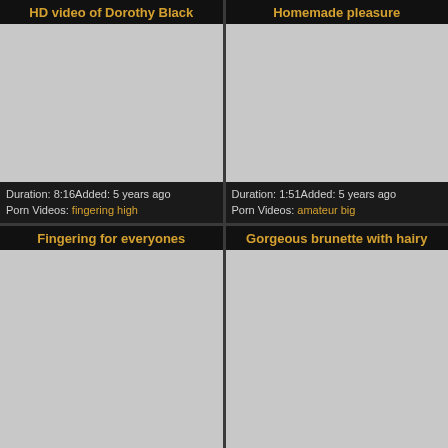HD video of Dorothy Black
[Figure (photo): Video thumbnail placeholder (gray rectangle)]
Duration: 8:16Added: 5 years ago
Porn Videos: fingering high
Homemade pleasure
[Figure (photo): Video thumbnail placeholder (gray rectangle)]
Duration: 1:51Added: 5 years ago
Porn Videos: amateur big
Fingering for everyones
[Figure (photo): Video thumbnail placeholder (gray rectangle)]
Gorgeous brunette with hairy
[Figure (photo): Video thumbnail placeholder (gray rectangle)]